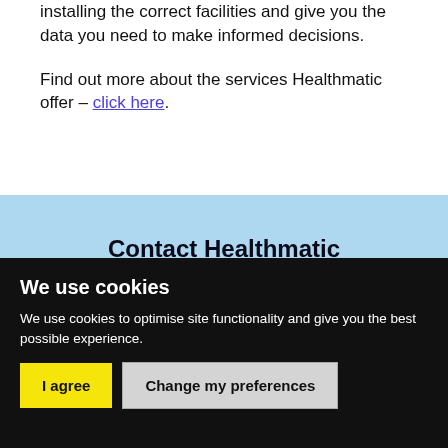installing the correct facilities and give you the data you need to make informed decisions.
Find out more about the services Healthmatic offer – click here.
Contact Healthmatic (Ireland)
Healthmatic (Ireland)
We use cookies
We use cookies to optimise site functionality and give you the best possible experience.
I agree | Change my preferences